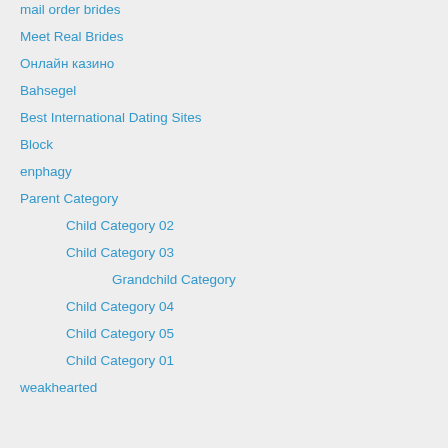mail order brides
Meet Real Brides
Онлайн казино
Bahsegel
Best International Dating Sites
Block
enphagy
Parent Category
Child Category 02
Child Category 03
Grandchild Category
Child Category 04
Child Category 05
Child Category 01
weakhearted